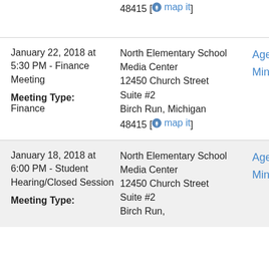| Date/Meeting | Location | Links |
| --- | --- | --- |
| [partial row - address only] 48415 [map it] |  |  |
| January 22, 2018 at 5:30 PM - Finance Meeting
Meeting Type: Finance | North Elementary School Media Center
12450 Church Street
Suite #2
Birch Run, Michigan
48415 [map it] | Agenda
Minutes |
| January 18, 2018 at 6:00 PM - Student Hearing/Closed Session
Meeting Type: | North Elementary School Media Center
12450 Church Street
Suite #2
Birch Run, | Agenda
Minutes |